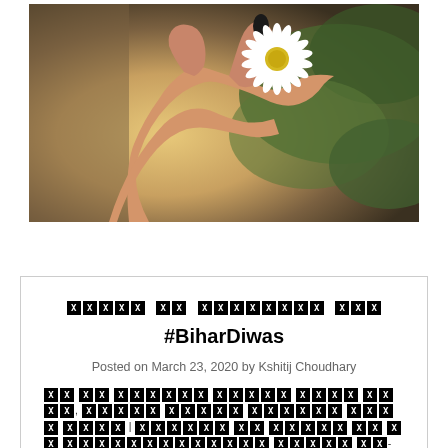[Figure (photo): A hand with dark painted nails holding a small white daisy flower, with a blurred golden and green background]
बिहार का स्थापना दिवस #BiharDiwas
Posted on March 23, 2020 by Kshitij Choudhary
हम सब बिहारी मिलकर गाये, बिहार दिवस मनाएं साथ मिल | बिहार के गौरव को हम स्वाभिमानपूर्ण भाव प्रति-दिन मनाएं साथ मिल कर सब हम को है गाना पड़े 'हम' को स्वाभिमानपूर्ण भाव साथ मिल कर सबका